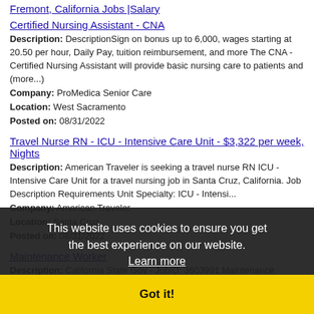Fremont, California Jobs |Salary
Certified Nursing Assistant - CNA
Description: DescriptionSign on bonus up to 6,000, wages starting at 20.50 per hour, Daily Pay, tuition reimbursement, and more The CNA - Certified Nursing Assistant will provide basic nursing care to patients and (more...)
Company: ProMedica Senior Care
Location: West Sacramento
Posted on: 08/31/2022
Travel Nurse RN - ICU - Intensive Care Unit - $3,322 per week, Nights
Description: American Traveler is seeking a travel nurse RN ICU - Intensive Care Unit for a travel nursing job in Santa Cruz, California. Job Description Requirements Unit Specialty: ICU - Intensi...
Company: American Traveler
Location: Santa Cruz
Posted on: 08/31/2022
Maintenance Worker
Description: California State Gov - JobID: 3603991 Maintenance Technician As a Road
This website uses cookies to ensure you get the best experience on our website. Learn more Got it!